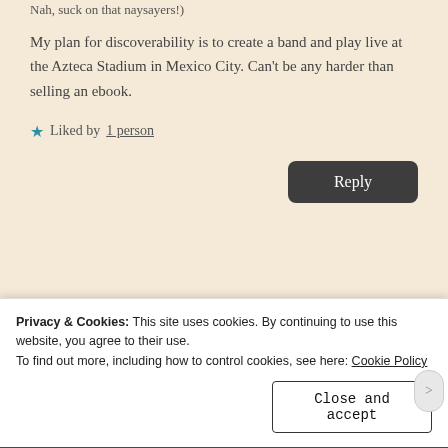Nah, suck on that naysayers!)
My plan for discoverability is to create a band and play live at the Azteca Stadium in Mexico City. Can't be any harder than selling an ebook.
★ Liked by 1 person
Reply
[Figure (screenshot): Partial view of a blog comment section with avatar and commenter name partially visible]
Privacy & Cookies: This site uses cookies. By continuing to use this website, you agree to their use. To find out more, including how to control cookies, see here: Cookie Policy
Close and accept